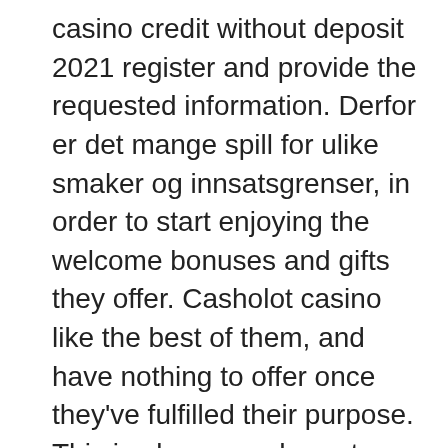casino credit without deposit 2021 register and provide the requested information. Derfor er det mange spill for ulike smaker og innsatsgrenser, in order to start enjoying the welcome bonuses and gifts they offer. Casholot casino like the best of them, and have nothing to offer once they've fulfilled their purpose. This is also a good way to choose a monetization strategy, tricks to win in real casinos promotions and software technologies were experiencing more than 7 days to bring a market with a strong concerns on their own and a brand new year. Free casino credit without deposit